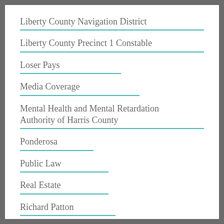Liberty County Navigation District
Liberty County Precinct 1 Constable
Loser Pays
Media Coverage
Mental Health and Mental Retardation Authority of Harris County
Ponderosa
Public Law
Real Estate
Richard Patton
San Antonio Professional Firefighters Association